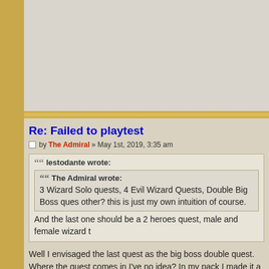[Figure (other): Advertisement or banner area (gray background placeholder)]
Re: Failed to playtest
by The Admiral » May 1st, 2019, 3:35 am
lestodante wrote:
The Admiral wrote:
3 Wizard Solo quests, 4 Evil Wizard Quests, Double Big Boss ques other? this is just my own intuition of course.

And the last one should be a 2 heroes quest, male and female wizard t
Well I envisaged the last quest as the big boss double quest. Where the quest comes in I've no idea? In my pack I made it a single semi-group qu (Quest 4) with all the others a quest for the Wizard, being off...